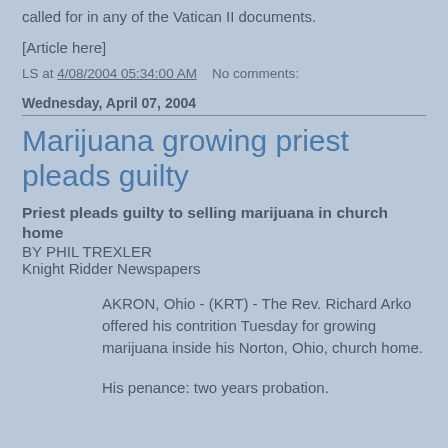called for in any of the Vatican II documents.
[Article here]
LS at 4/08/2004 05:34:00 AM   No comments:
Wednesday, April 07, 2004
Marijuana growing priest pleads guilty
Priest pleads guilty to selling marijuana in church home
BY PHIL TREXLER
Knight Ridder Newspapers
AKRON, Ohio - (KRT) - The Rev. Richard Arko offered his contrition Tuesday for growing marijuana inside his Norton, Ohio, church home.
His penance: two years probation.